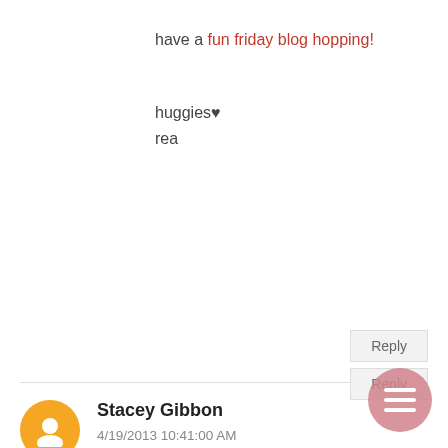have a fun friday blog hopping!
huggies♥
rea
Reply
Stacey Gibbon
4/19/2013 10:41:00 AM
Love their mugs! I think my husband would love one with lil man on it.
Reply
Journeys of The Zoo
4/19/2013 12:26:00 PM